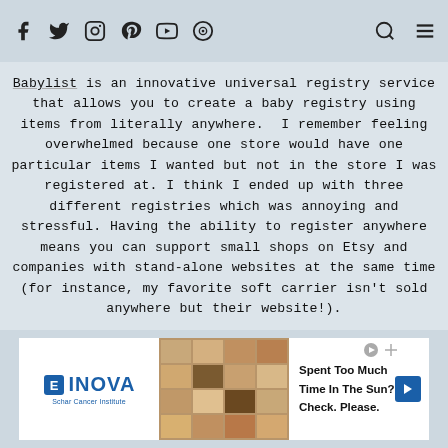[social icons: facebook, twitter, instagram, pinterest, youtube, heart] [search icon] [menu icon]
Babylist is an innovative universal registry service that allows you to create a baby registry using items from literally anywhere. I remember feeling overwhelmed because one store would have one particular items I wanted but not in the store I was registered at. I think I ended up with three different registries which was annoying and stressful. Having the ability to register anywhere means you can support small shops on Etsy and companies with stand-alone websites at the same time (for instance, my favorite soft carrier isn't sold anywhere but their website!).
[Figure (other): INOVA Schar Cancer Institute advertisement with toast/bread imagery and text: Spent Too Much Time In The Sun? Check. Please.]